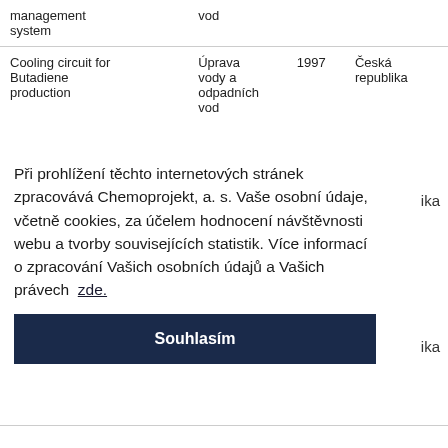| management system | vod |  |  |
| Cooling circuit for Butadiene production | Úprava vody a odpadních vod | 1997 | Česká republika |
Při prohlížení těchto internetových stránek zpracovává Chemoprojekt, a. s. Vaše osobní údaje, včetně cookies, za účelem hodnocení návštěvnosti webu a tvorby souvisejících statistik. Více informací o zpracování Vašich osobních údajů a Vašich právech zde.
Souhlasím